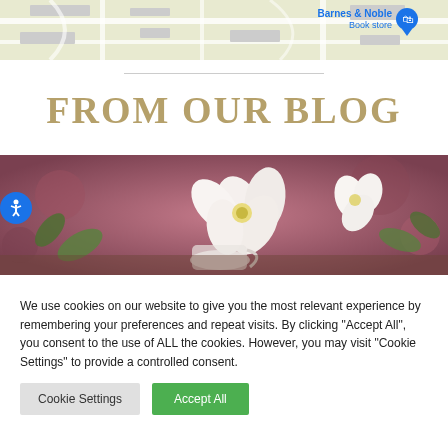[Figure (map): Google Maps screenshot showing a map area with Barnes & Noble Book store label and pin icon]
[Figure (photo): Close-up photo of white cherry blossoms or spring flowers with bokeh pink/brown background]
FROM OUR BLOG
We use cookies on our website to give you the most relevant experience by remembering your preferences and repeat visits. By clicking “Accept All”, you consent to the use of ALL the cookies. However, you may visit "Cookie Settings" to provide a controlled consent.